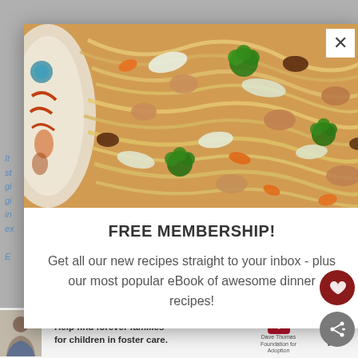[Figure (photo): Close-up photo of stir-fried noodles with chicken, broccoli, carrots, mushrooms, and cabbage in a decorative bowl]
FREE MEMBERSHIP!
Get all our new recipes straight to your inbox - plus our most popular eBook of awesome dinner recipes!
[Figure (photo): Advertisement banner: Help find forever families for children in foster care. Dave Thomas Foundation for Adoption. Shows photo of young man.]